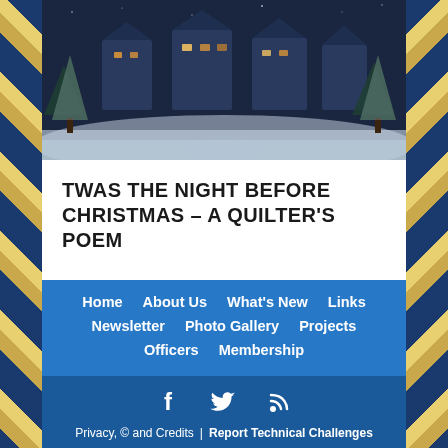[Figure (photo): Night-time winter scene showing snow-covered buildings and trees in blue tones]
TWAS THE NIGHT BEFORE CHRISTMAS – A QUILTER'S POEM
Home  About Us  What's New  Links  Newsletter  Photo Gallery  Projects  Officers  Membership
Privacy, © and Credits  |  Report Technical Challenges